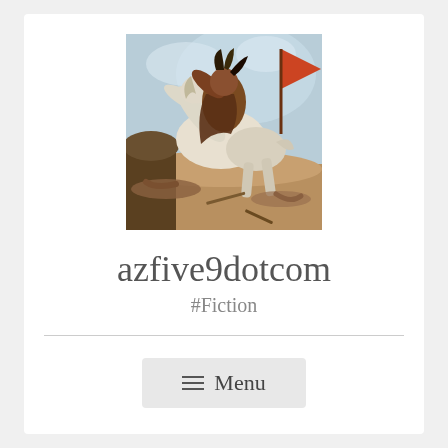[Figure (illustration): A classical oil painting depicting a warrior on a rearing white horse in a battle scene, with a red flag/banner visible in the background and figures on the ground below.]
azfive9dotcom
#Fiction
Menu